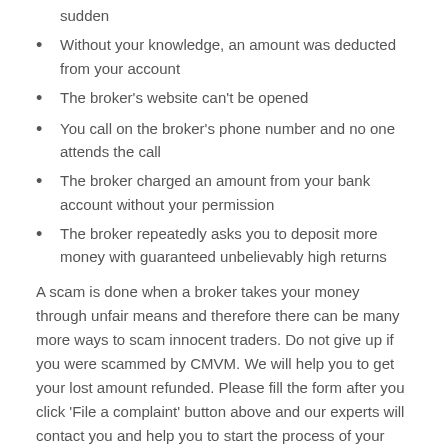sudden
Without your knowledge, an amount was deducted from your account
The broker's website can't be opened
You call on the broker's phone number and no one attends the call
The broker charged an amount from your bank account without your permission
The broker repeatedly asks you to deposit more money with guaranteed unbelievably high returns
A scam is done when a broker takes your money through unfair means and therefore there can be many more ways to scam innocent traders. Do not give up if you were scammed by CMVM. We will help you to get your lost amount refunded. Please fill the form after you click ‘File a complaint’ button above and our experts will contact you and help you to start the process of your fund recovery.